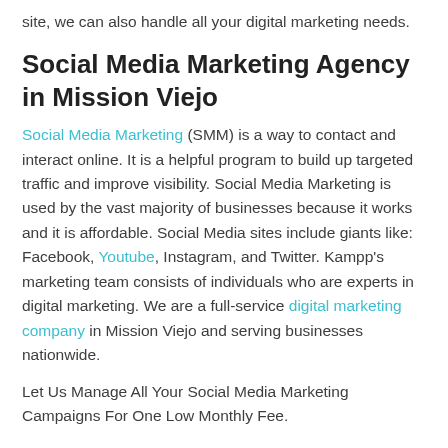site, we can also handle all your digital marketing needs.
Social Media Marketing Agency in Mission Viejo
Social Media Marketing (SMM) is a way to contact and interact online. It is a helpful program to build up targeted traffic and improve visibility. Social Media Marketing is used by the vast majority of businesses because it works and it is affordable. Social Media sites include giants like: Facebook, Youtube, Instagram, and Twitter. Kampp’s marketing team consists of individuals who are experts in digital marketing. We are a full-service digital marketing company in Mission Viejo and serving businesses nationwide.
Let Us Manage All Your Social Media Marketing Campaigns For One Low Monthly Fee.